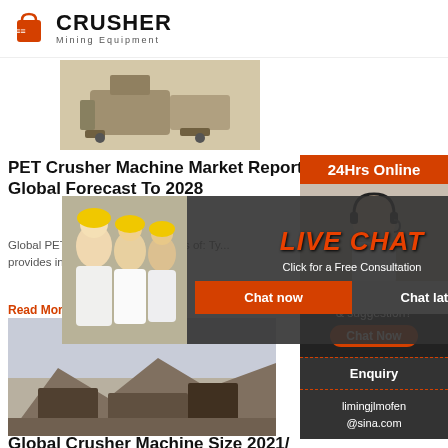CRUSHER Mining Equipment
[Figure (photo): Mining crusher machine equipment, sepia-toned photo]
PET Crusher Machine Market Report Global Forecast To 2028
Global PET ... global PET C... basis of: Ty... provides inf... and the resp...
Read More
[Figure (photo): Industrial crusher machinery at a mining site, outdoor photo]
Global Crusher Machine Market Size 2021/
[Figure (screenshot): Live Chat popup overlay with two workers in hard hats, red LIVE CHAT text, Click for a Free Consultation, Chat now and Chat later buttons]
24Hrs Online
Need questions & suggestion?
Chat Now
Enquiry
limingjlmofen@sina.com